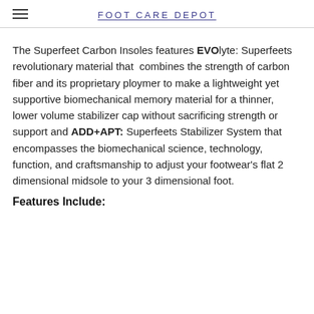FOOT CARE DEPOT
The Superfeet Carbon Insoles features EVOlyte: Superfeets revolutionary material that combines the strength of carbon fiber and its proprietary ploymer to make a lightweight yet supportive biomechanical memory material for a thinner, lower volume stabilizer cap without sacrificing strength or support and ADD+APT: Superfeets Stabilizer System that encompasses the biomechanical science, technology, function, and craftsmanship to adjust your footwear's flat 2 dimensional midsole to your 3 dimensional foot.
Features Include: